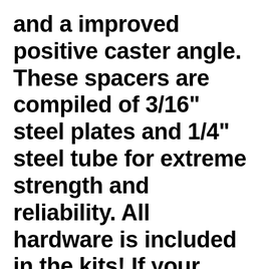and a improved positive caster angle.  These spacers are compiled of 3/16" steel plates and 1/4" steel tube for extreme strength and reliability. All hardware is included in the kits! If your looking for maximum clearance to make your Subaru more capable off road this is the product for